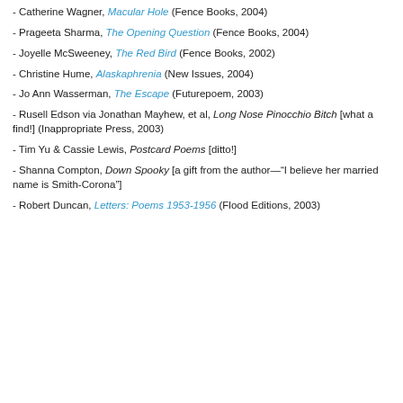- Catherine Wagner, Macular Hole (Fence Books, 2004)
- Prageeta Sharma, The Opening Question (Fence Books, 2004)
- Joyelle McSweeney, The Red Bird (Fence Books, 2002)
- Christine Hume, Alaskaphrenia (New Issues, 2004)
- Jo Ann Wasserman, The Escape (Futurepoem, 2003)
- Rusell Edson via Jonathan Mayhew, et al, Long Nose Pinocchio Bitch [what a find!] (Inappropriate Press, 2003)
- Tim Yu & Cassie Lewis, Postcard Poems [ditto!]
- Shanna Compton, Down Spooky [a gift from the author—"I believe her married name is Smith-Corona"]
- Robert Duncan, Letters: Poems 1953-1956 (Flood Editions, 2003)